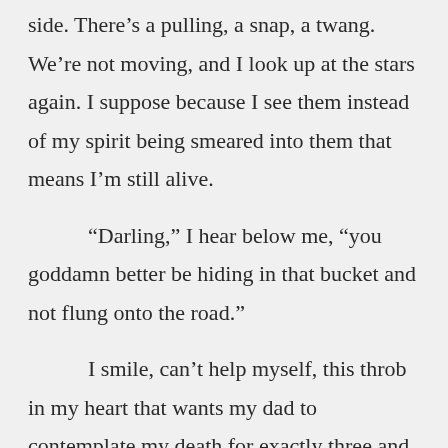side. There's a pulling, a snap, a twang. We're not moving, and I look up at the stars again. I suppose because I see them instead of my spirit being smeared into them that means I'm still alive.

“Darling,” I hear below me, “you goddamn better be hiding in that bucket and not flung onto the road.”

I smile, can't help myself, this throb in my heart that wants my dad to contemplate my death for exactly three and a half seconds before I am resurrected into another